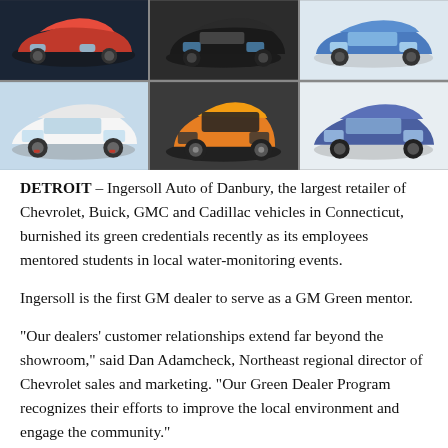[Figure (photo): Grid of 6 car photos showing various vehicles including a red car, black SUV, blue car (top row), white Mercedes sedan, orange BMW i3 hatchback, and blue compact sedan (bottom row)]
DETROIT – Ingersoll Auto of Danbury, the largest retailer of Chevrolet, Buick, GMC and Cadillac vehicles in Connecticut, burnished its green credentials recently as its employees mentored students in local water-monitoring events.
Ingersoll is the first GM dealer to serve as a GM Green mentor.
“Our dealers’ customer relationships extend far beyond the showroom,” said Dan Adamcheck, Northeast regional director of Chevrolet sales and marketing. “Our Green Dealer Program recognizes their efforts to improve the local environment and engage the community.”
Employees from Ingersoll gave conservation education a boost...